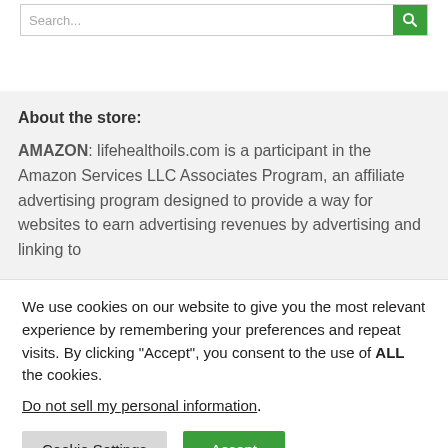[Figure (screenshot): Search bar with placeholder text 'Search...' and a green search button on the right]
About the store:
AMAZON: lifehealthoils.com is a participant in the Amazon Services LLC Associates Program, an affiliate advertising program designed to provide a way for websites to earn advertising revenues by advertising and linking to
We use cookies on our website to give you the most relevant experience by remembering your preferences and repeat visits. By clicking “Accept”, you consent to the use of ALL the cookies.
Do not sell my personal information.